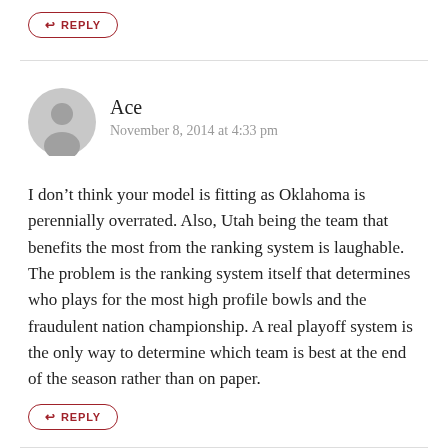[Figure (illustration): Partial reply button at top of page, partially cropped]
[Figure (illustration): Gray circular user avatar icon]
Ace
November 8, 2014 at 4:33 pm
I don’t think your model is fitting as Oklahoma is perennially overrated. Also, Utah being the team that benefits the most from the ranking system is laughable. The problem is the ranking system itself that determines who plays for the most high profile bowls and the fraudulent nation championship. A real playoff system is the only way to determine which team is best at the end of the season rather than on paper.
[Figure (illustration): Reply button with arrow icon, styled with dark red border and text]